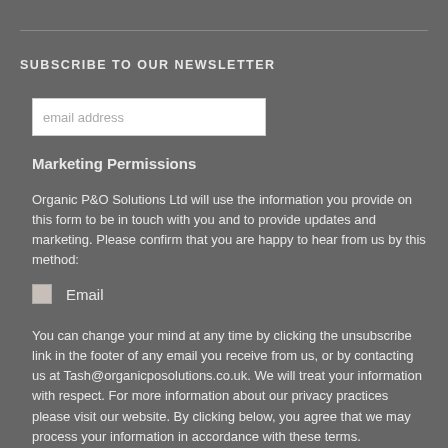SUBSCRIBE TO OUR NEWSLETTER
email address
Marketing Permissions
Organic P&O Solutions Ltd will use the information you provide on this form to be in touch with you and to provide updates and marketing. Please confirm that you are happy to hear from us by this method:
Email
You can change your mind at any time by clicking the unsubscribe link in the footer of any email you receive from us, or by contacting us at Tash@organicposolutions.co.uk. We will treat your information with respect. For more information about our privacy practices please visit our website. By clicking below, you agree that we may process your information in accordance with these terms.